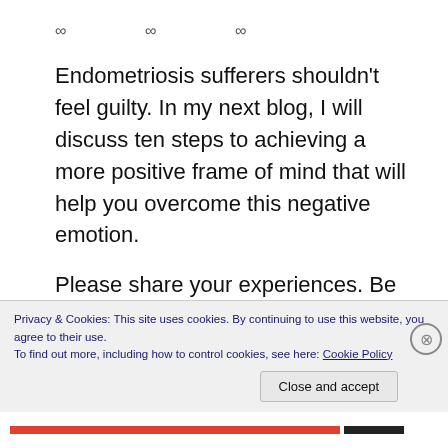∞  ∞  ∞
Endometriosis sufferers shouldn't feel guilty. In my next blog, I will discuss ten steps to achieving a more positive frame of mind that will help you overcome this negative emotion.
Please share your experiences. Be vocal. Leave a comment. Raise awareness through an open discussion. The chances are there's somebody out there who's also facing the complex and unfamiliar feelings discussed in this article. The chances are
Privacy & Cookies: This site uses cookies. By continuing to use this website, you agree to their use.
To find out more, including how to control cookies, see here: Cookie Policy